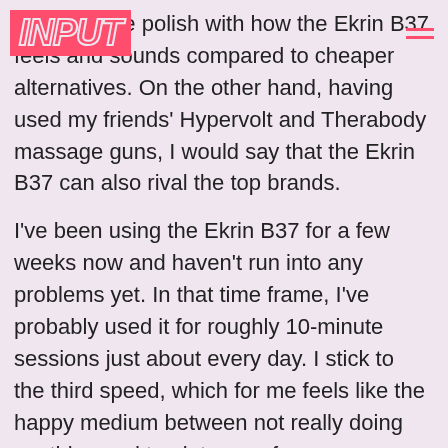INPUT
there's more polish with how the Ekrin B37 feels and sounds compared to cheaper alternatives. On the other hand, having used my friends' Hypervolt and Therabody massage guns, I would say that the Ekrin B37 can also rival the top brands.
I've been using the Ekrin B37 for a few weeks now and haven't run into any problems yet. In that time frame, I've probably used it for roughly 10-minute sessions just about every day. I stick to the third speed, which for me feels like the happy medium between not really doing anything and too intense of a massage. Compared to my previous knockoff massage gun, the Ekrin B37 sounds a lot quieter with its range of 35 to 55dB. It's enough of a noticeable difference where it does feel like I'm not annoying my roommates quite as much.